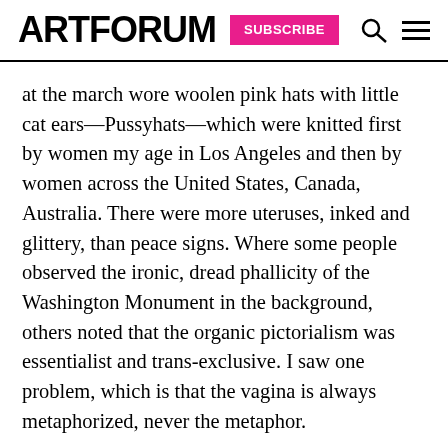ARTFORUM SUBSCRIBE
at the march wore woolen pink hats with little cat ears—Pussyhats—which were knitted first by women my age in Los Angeles and then by women across the United States, Canada, Australia. There were more uteruses, inked and glittery, than peace signs. Where some people observed the ironic, dread phallicity of the Washington Monument in the background, others noted that the organic pictorialism was essentialist and trans-exclusive. I saw one problem, which is that the vagina is always metaphorized, never the metaphor.
Kennedy was right in a mythic, not a historical, sense. Gender is a chicken-egg situation: The